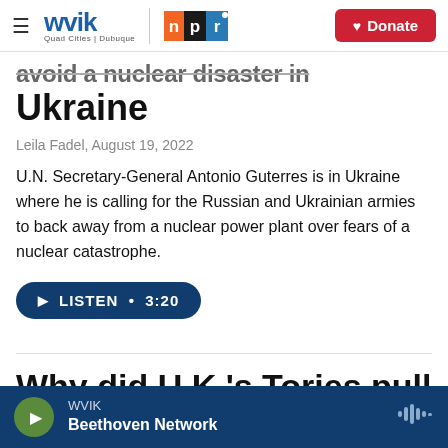WVIK | NPR | Quad Cities | Dubuque — Donate
avoid a nuclear disaster in Ukraine
Leila Fadel, August 19, 2022
U.N. Secretary-General Antonio Guterres is in Ukraine where he is calling for the Russian and Ukrainian armies to back away from a nuclear power plant over fears of a nuclear catastrophe.
LISTEN • 3:20
Why did U.K.'s Tories pull the plug on Johnson but
WVIK — Beethoven Network